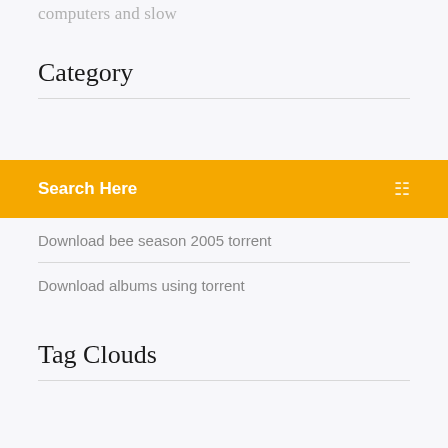computers and slow
Category
Search Here
Download bee season 2005 torrent
Download albums using torrent
Tag Clouds